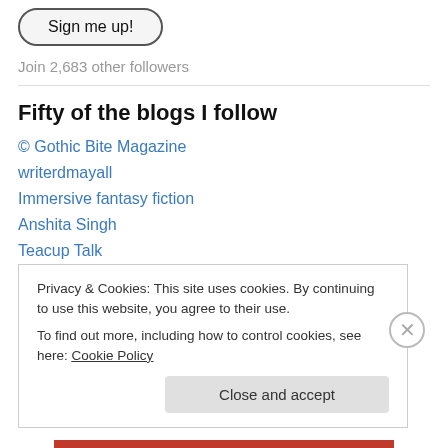Sign me up!
Join 2,683 other followers
Fifty of the blogs I follow
© Gothic Bite Magazine
writerdmayall
Immersive fantasy fiction
Anshita Singh
Teacup Talk
Jo Robinson
Privacy & Cookies: This site uses cookies. By continuing to use this website, you agree to their use. To find out more, including how to control cookies, see here: Cookie Policy
Close and accept